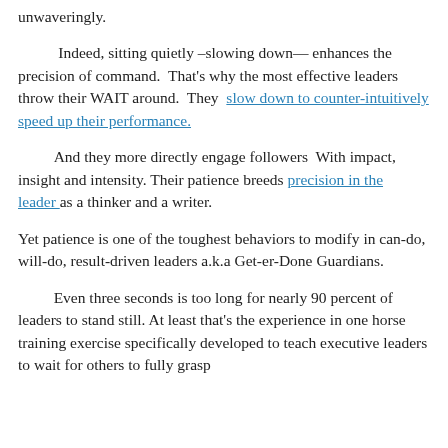unwaveringly.
Indeed, sitting quietly –slowing down— enhances the precision of command.  That's why the most effective leaders throw their WAIT around.  They  slow down to counter-intuitively speed up their performance.
And they more directly engage followers  With impact, insight and intensity. Their patience breeds precision in the leader as a thinker and a writer.
Yet patience is one of the toughest behaviors to modify in can-do, will-do, result-driven leaders a.k.a Get-er-Done Guardians.
Even three seconds is too long for nearly 90 percent of leaders to stand still. At least that's the experience in one horse training exercise specifically developed to teach executive leaders to wait for others to fully grasp